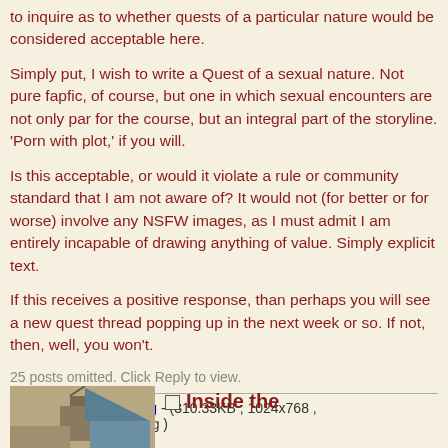to inquire as to whether quests of a particular nature would be considered acceptable here.
Simply put, I wish to write a Quest of a sexual nature. Not pure fapfic, of course, but one in which sexual encounters are not only par for the course, but an integral part of the storyline. 'Porn with plot,' if you will.
Is this acceptable, or would it violate a rule or community standard that I am not aware of? It would not (for better or for worse) involve any NSFW images, as I must admit I am entirely incapable of drawing anything of value. Simply explicit text.
If this receives a positive response, than perhaps you will see a new quest thread popping up in the next week or so. If not, then, well, you won't.
25 posts omitted. Click Reply to view.
File 127682643150.png - (310.33KB , 1024x768 , invasivequestioning.png )
Inside the